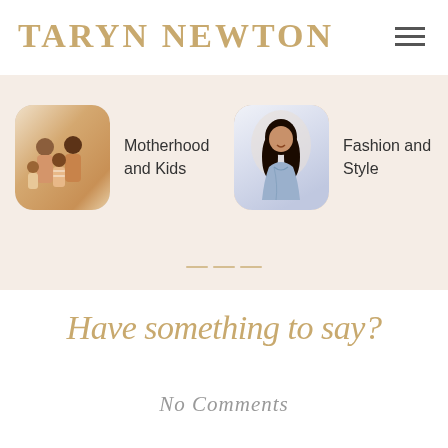TARYN NEWTON
[Figure (screenshot): Category cards section with two items: Motherhood and Kids (family photo) and Fashion and Style (woman in blue dress)]
Motherhood and Kids
Fashion and Style
Have something to say?
No Comments